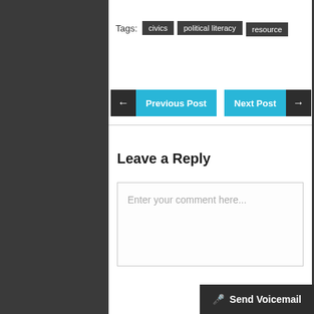Tags: civics political literacy resource
← Previous Post
Next Post →
Leave a Reply
Enter your comment here...
🎤 Send Voicemail